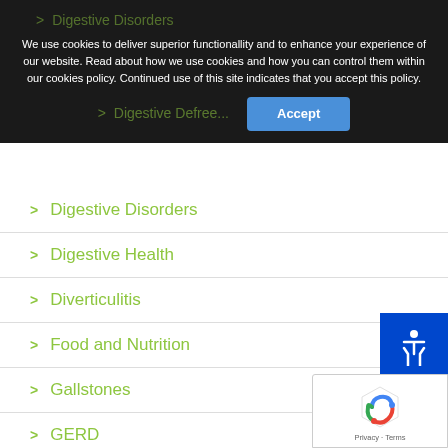We use cookies to deliver superior functionallity and to enhance your experience of our website. Read about how we use cookies and how you can control them within our cookies policy. Continued use of this site indicates that you accept this policy.
Digestive Disorders
Digestive Health
Diverticulitis
Food and Nutrition
Gallstones
GERD
Heartburn Relief
Immune System